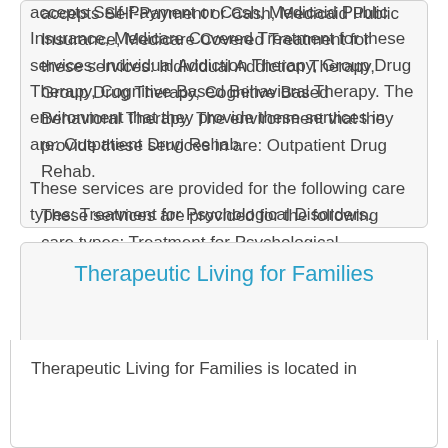accepts Self-Payment or Cash, Medicaid Public Insurance, Medicare Covered Treatment for these services: Individual Addiction Therapy, Group Drug Therapy, Cognitive Based Behavioral Therapy. The environment that they provide these services in are: Outpatient Drug Rehab.

These services are provided for the following care types: Treatment for Psychological Disorders.
Therapeutic Living for Families
Therapeutic Living for Families is located in...